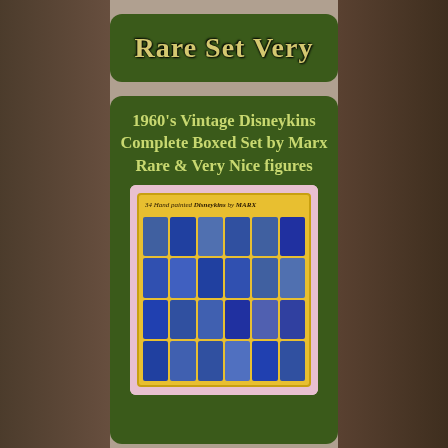Rare Set Very
1960's Vintage Disneykins Complete Boxed Set by Marx Rare & Very Nice figures
[Figure (photo): Photo of a 1960s vintage Disneykins Complete Boxed Set by Marx showing 34 hand painted figures in a yellow display box with pink background]